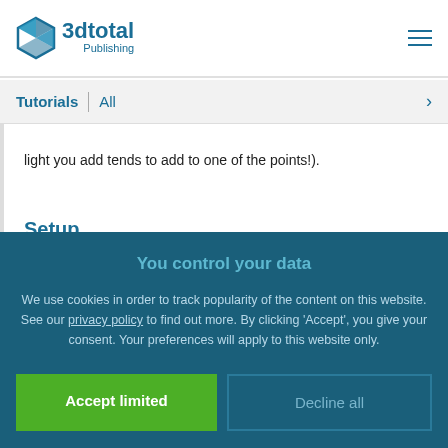3dtotal Publishing
Tutorials | All
light you add tends to add to one of the points!).
Setup
You control your data
We use cookies in order to track popularity of the content on this website. See our privacy policy to find out more. By clicking 'Accept', you give your consent. Your preferences will apply to this website only.
Accept limited
Decline all